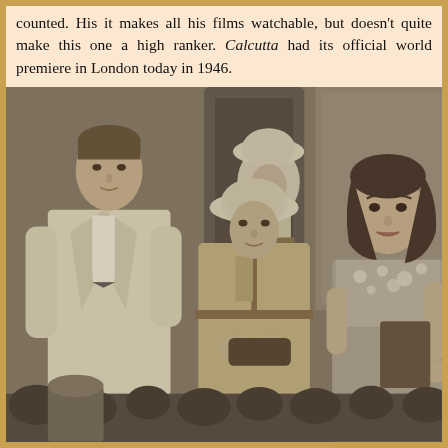counted. His it makes all his films watchable, but doesn't quite make this one a high ranker. Calcutta had its official world premiere in London today in 1946.
[Figure (photo): Black and white film still showing three people in the foreground: a man in a light suit and tie on the left, a man in military/colonial khaki uniform with pith helmet in the center holding something, and a woman in a floral dress on the right. A fourth person in white uniform and pith helmet is visible in the background. The setting appears to be an interior colonial-era room. A partial scene with a crowd is visible at the bottom.]